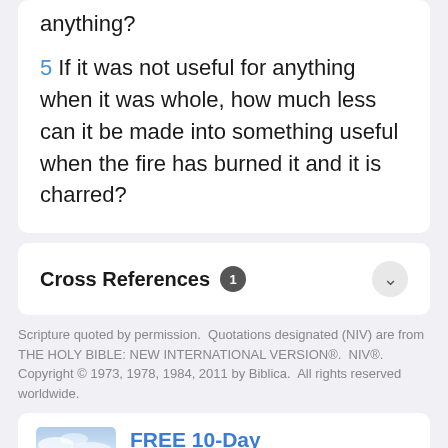anything?
5 If it was not useful for anything when it was whole, how much less can it be made into something useful when the fire has burned it and it is charred?
Cross References 1
Scripture quoted by permission.  Quotations designated (NIV) are from THE HOLY BIBLE: NEW INTERNATIONAL VERSION®.  NIV®.  Copyright © 1973, 1978, 1984, 2011 by Biblica.  All rights reserved worldwide.
FREE 10-Day Prayer Guide